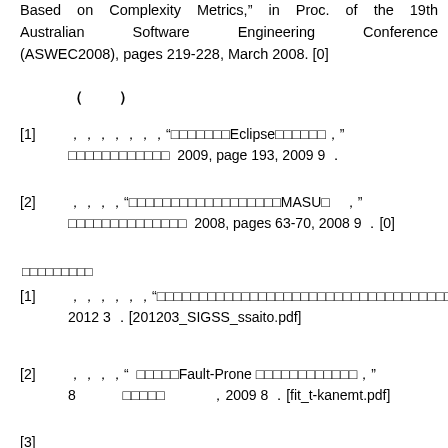Based on Complexity Metrics," in Proc. of the 19th Australian Software Engineering Conference (ASWEC2008), pages 219-228, March 2008. [0]
（　）
[1] ，，，，，，"□□□□□□□Eclipse□□□□□□，"□□□□□□□□□□□□　2009, page 193, 2009　9　.
[2] ，，，，"□□□□□□□□□□□□□□□□□□MASU□　，"□□□□□□□□□□□□□□　2008, pages 63-70, 2008　9　. [0]
□□□□□□□□□
[1] ，，，，，，"□□□□□□□□□□□□□□□□□□□□□□□□□□□□□□□□□□□□，"　，2012　3　. [201203_SIGSS_ssaito.pdf]
[2] ，，，，"　□□□□□Fault-Prone □□□□□□□□□□□□，"8　□□□□□□□□□□□□，2009　8　. [fit_t-kanemt.pdf]
[3]